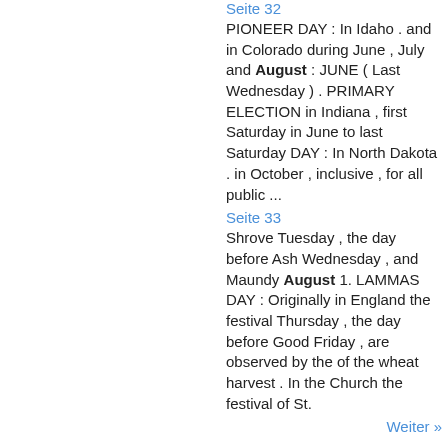Seite 32
PIONEER DAY : In Idaho . and in Colorado during June , July and August : JUNE ( Last Wednesday ) . PRIMARY ELECTION in Indiana , first Saturday in June to last Saturday DAY : In North Dakota . in October , inclusive , for all public ...
Seite 33
Shrove Tuesday , the day before Ash Wednesday , and Maundy August 1. LAMMAS DAY : Originally in England the festival Thursday , the day before Good Friday , are observed by the of the wheat harvest . In the Church the festival of St.
Weiter »